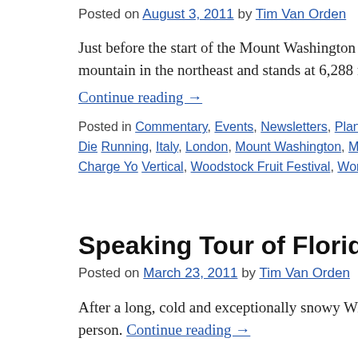Posted on August 3, 2011 by Tim Van Orden
Just before the start of the Mount Washington Road Race, the ra crowd that there is nothing to fear, "there is only one hill." That tallest mountain in the northeast and stands at 6,288 feet high. B
Continue reading →
Posted in Commentary, Events, Newsletters, Plant Powered Athletes, Presen Tips, The Journey, Training | Tagged Athlete, Audiobook, Championships, Die Running, Italy, London, Mount Washington, Mountain Running, National Cha Race, Road Race, Running, Trail Running, Training, Travel, Turbo Charge Yo Vertical, Woodstock Fruit Festival, World Championships | 1 Comment
Speaking Tour of Florida
Posted on March 23, 2011 by Tim Van Orden
After a long, cold and exceptionally snowy Winter I think it's ti heading to Florida in a few days for a one week speaking tour. I Floridians in person. Continue reading →